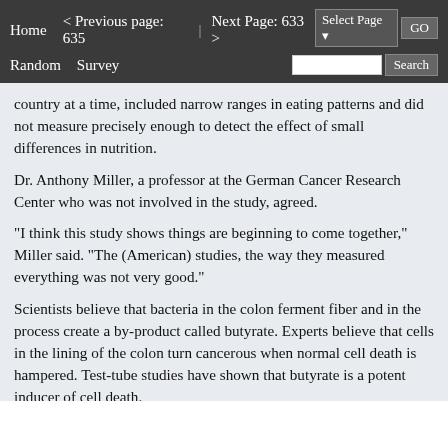Home  < Previous page: 635  |  Next Page: 633 >  Random  Survey  Select Page  GO  Search
country at a time, included narrow ranges in eating patterns and did not measure precisely enough to detect the effect of small differences in nutrition.
Dr. Anthony Miller, a professor at the German Cancer Research Center who was not involved in the study, agreed.
"I think this study shows things are beginning to come together," Miller said. "The (American) studies, the way they measured everything was not very good."
Scientists believe that bacteria in the colon ferment fiber and in the process create a by-product called butyrate. Experts believe that cells in the lining of the colon turn cancerous when normal cell death is hampered. Test-tube studies have shown that butyrate is a potent inducer of cell death.
Those who don't eat a lot of fiber tend to load up on